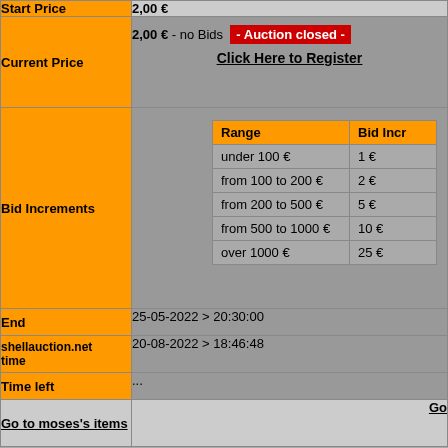| Label | Value |
| --- | --- |
| Start Price | 2,00 € |
| Current Price | 2,00 € - no Bids  - Auction closed -
Click Here to Register |
| Bid Increments | Range / Bid Increment table: under 100€=1€, from 100 to 200€=2€, from 200 to 500€=5€, from 500 to 1000€=10€, over 1000€=25€ |
| End | 25-05-2022 > 20:30:00 |
| shellauction.net time | 20-08-2022 > 18:46:48 |
| Time left | ... |
| Go to moses's items | Go |
Bid history: